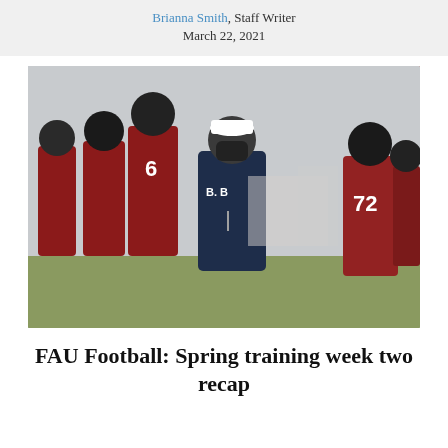Brianna Smith, Staff Writer
March 22, 2021
[Figure (photo): FAU football coach wearing a face mask and navy B.O.B. shirt walks among players in red uniforms and dark helmets during a spring practice session outdoors.]
FAU Football: Spring training week two recap